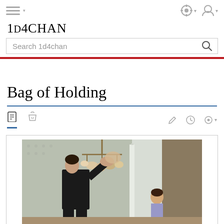1D4CHAN — Search 1d4chan
Bag of Holding
[Figure (photo): A person in a black outfit reaching up to hang or retrieve a bag from a chandelier/coat rack, with a child visible in the background, in a decorated room setting]